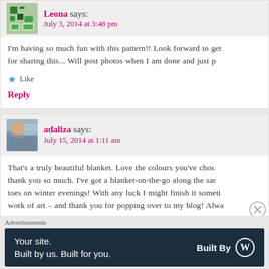Leona says:
July 3, 2014 at 3:48 pm
I'm having so much fun with this pattern!! Look forward to getting started for sharing this... Will post photos when I am done and just p
★ Like
Reply
adaliza says:
July 15, 2014 at 1:11 am
That's a truly beautiful blanket. Love the colours you've chosen – thank you so much. I've got a blanket-on-the-go along the same lines – just perfect to keep the cold from my toes on winter evenings! With any luck I might finish it sometime… It's a beautiful work of art – and thank you for popping over to my blog! Alwa
★ Like
Reply
Advertisements
Your site. Built by us. Built for you.
Built By